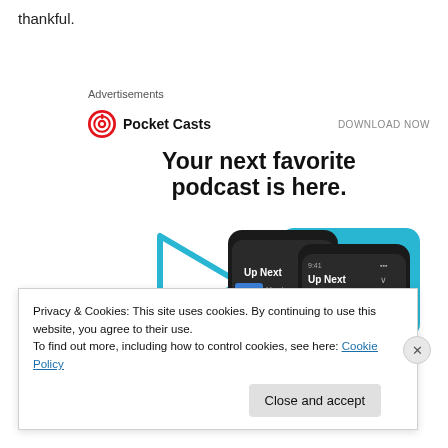thankful.
Advertisements
[Figure (logo): Pocket Casts logo - red circular icon with white headphone-like symbol, followed by text 'Pocket Casts' and 'DOWNLOAD NOW' on the right]
Your next favorite podcast is here.
[Figure (screenshot): Illustration showing two smartphone screens displaying the Pocket Casts app 'Up Next' queue interface, with blue geometric play button shape on the left side, on a teal/blue background]
Privacy & Cookies: This site uses cookies. By continuing to use this website, you agree to their use.
To find out more, including how to control cookies, see here: Cookie Policy
Close and accept